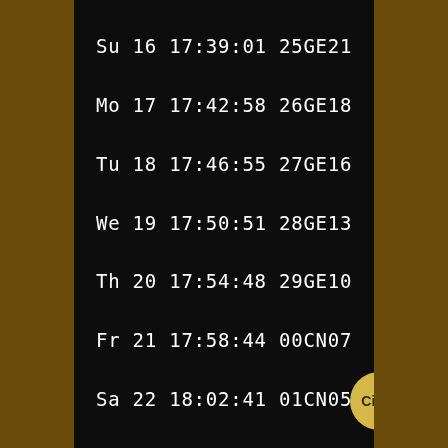Su 16 17:39:01 25GE21
Mo 17 17:42:58 26GE18
Tu 18 17:46:55 27GE16
We 19 17:50:51 28GE13
Th 20 17:54:48 29GE10
Fr 21 17:58:44 00CN07
Sa 22 18:02:41 01CN05
Cimo